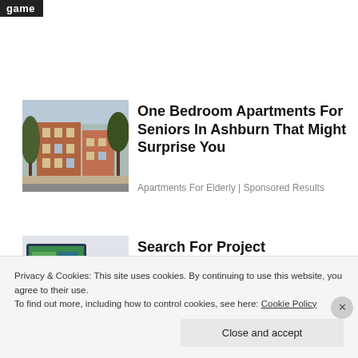[Figure (screenshot): Dark badge/label with text 'game' in white on black background]
[Figure (photo): Photo of a brick apartment building exterior with trees]
One Bedroom Apartments For Seniors In Ashburn That Might Surprise You
Apartments For Elderly | Sponsored Results
[Figure (photo): Photo of a person working at a computer with project management software on screen]
Search For Project Management Training Course
Yahoo! Search
Privacy & Cookies: This site uses cookies. By continuing to use this website, you agree to their use.
To find out more, including how to control cookies, see here: Cookie Policy
Close and accept